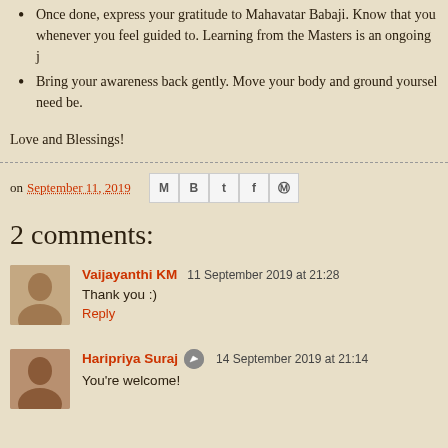Once done, express your gratitude to Mahavatar Babaji. Know that you whenever you feel guided to. Learning from the Masters is an ongoing j
Bring your awareness back gently. Move your body and ground yoursel need be.
Love and Blessings!
on September 11, 2019
2 comments:
Vaijayanthi KM 11 September 2019 at 21:28
Thank you :)
Reply
Haripriya Suraj 14 September 2019 at 21:14
You're welcome!